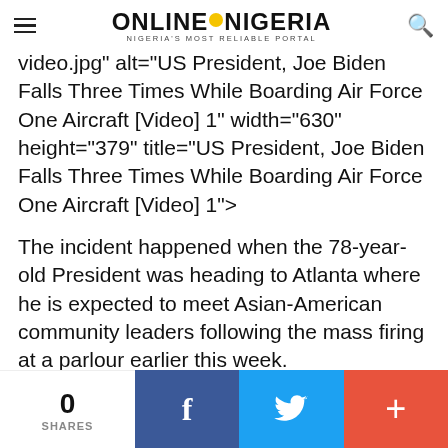ONLINE NIGERIA — NIGERIA'S MOST RELIABLE PORTAL
video.jpg" alt="US President, Joe Biden Falls Three Times While Boarding Air Force One Aircraft [Video] 1" width="630" height="379" title="US President, Joe Biden Falls Three Times While Boarding Air Force One Aircraft [Video] 1">
The incident happened when the 78-year-old President was heading to Atlanta where he is expected to meet Asian-American community leaders following the mass firing at a parlour earlier this week.
In a viral video, Biden was seen boarding the aircraft at Joint Base Andrews just before Friday noon when he
0 SHARES | Facebook | Twitter | +